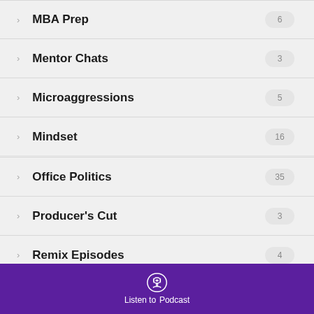MBA Prep 6
Mentor Chats 3
Microaggressions 5
Mindset 16
Office Politics 35
Producer's Cut 3
Remix Episodes 4
Resources 3
Listen to Podcast